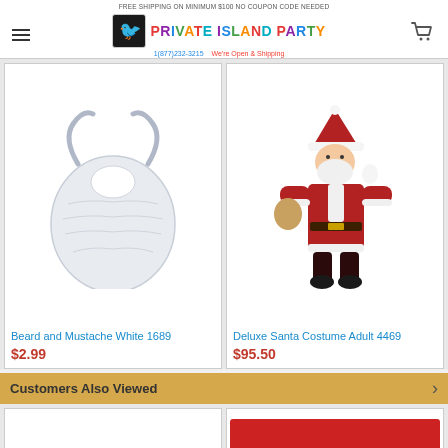FREE SHIPPING ON MINIMUM $100 NO COUPON CODE NEEDED - Private Island Party - 1(877)232-3215 We're Open & Shipping
[Figure (photo): White fake beard and mustache costume accessory on white background, product 1689]
Beard and Mustache White 1689
$2.99
[Figure (photo): Person wearing a deluxe Santa Claus costume (red suit with white trim, black belt, black boots, white beard and hat) against white background, product 4469]
Deluxe Santa Costume Adult 4469
$95.50
Customers Also Viewed
[Figure (photo): Partial product image at bottom left, white background]
[Figure (photo): Partial product image at bottom right, red costume item visible]